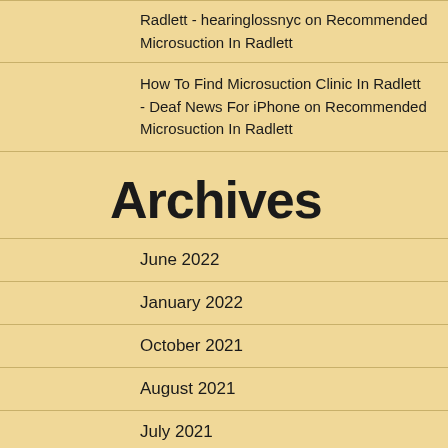Radlett - hearinglossnyc on Recommended Microsuction In Radlett
How To Find Microsuction Clinic In Radlett - Deaf News For iPhone on Recommended Microsuction In Radlett
Archives
June 2022
January 2022
October 2021
August 2021
July 2021